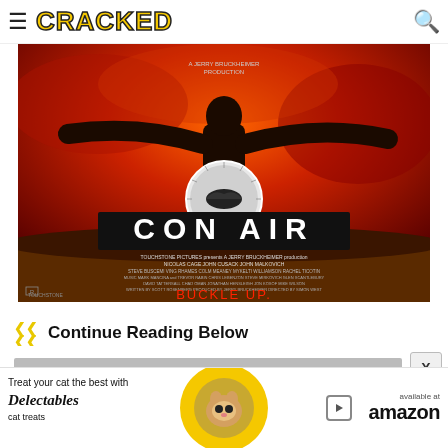CRACKED
[Figure (photo): Con Air movie poster showing a muscular man with arms outstretched against a fiery red sky, with the title CON AIR in large letters and tagline BUCKLE UP. Credits list Nicolas Cage, John Cusack, John Malkovich and others. A Jerry Bruckheimer production.]
Continue Reading Below
[Figure (photo): Advertisement banner: Treat your cat the best with Delectables cat treats, available at amazon]